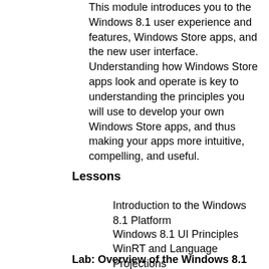This module introduces you to the Windows 8.1 user experience and features, Windows Store apps, and the new user interface. Understanding how Windows Store apps look and operate is key to understanding the principles you will use to develop your own Windows Store apps, and thus making your apps more intuitive, compelling, and useful.
Lessons
Introduction to the Windows 8.1 Platform
Windows 8.1 UI Principles
WinRT and Language Projections
Lab: Overview of the Windows 8.1 Platform and Windows